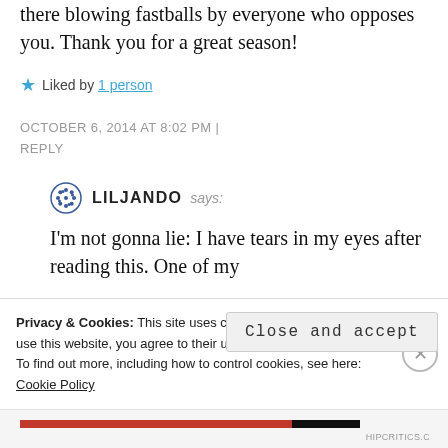there blowing fastballs by everyone who opposes you. Thank you for a great season!
★ Liked by 1 person
OCTOBER 6, 2014 AT 8:02 PM | REPLY
LILJANDO says:
I'm not gonna lie: I have tears in my eyes after reading this. One of my
Privacy & Cookies: This site uses cookies. By continuing to use this website, you agree to their use.
To find out more, including how to control cookies, see here: Cookie Policy
Close and accept